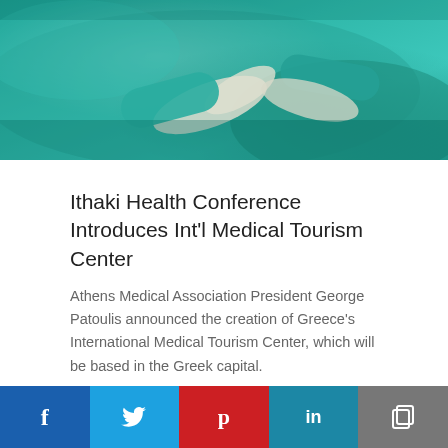[Figure (photo): Surgeons in green scrubs performing a medical procedure, close-up of hands with surgical gloves]
Ithaki Health Conference Introduces Int'l Medical Tourism Center
Athens Medical Association President George Patoulis announced the creation of Greece's International Medical Tourism Center, which will be based in the Greek capital.
Posted On 29 May 2017, By GTP editing team
Health and Wellness Next on Tourism Ministry Agenda
[Figure (infographic): Social media share bar with Facebook, Twitter, Pinterest, LinkedIn, and copy link buttons]